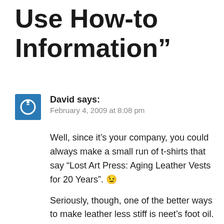Use How-to Information"
David says:
February 4, 2009 at 8:08 pm
Well, since it's your company, you could always make a small run of t-shirts that say "Lost Art Press: Aging Leather Vests for 20 Years". 😉
Seriously, though, one of the better ways to make leather less stiff is neet's foot oil. I don't think there's any such thing as a "neet" (except maybe in a Monte Python movie), but the stuff works wonders on leather ball gloves, leather box liners, and leather